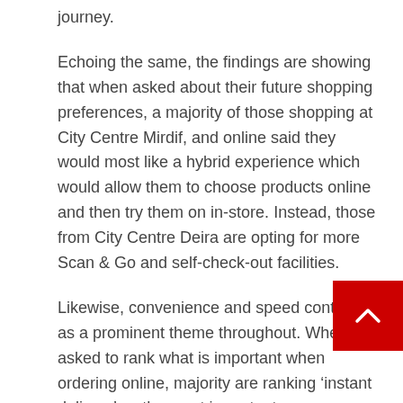journey.
Echoing the same, the findings are showing that when asked about their future shopping preferences, a majority of those shopping at City Centre Mirdif, and online said they would most like a hybrid experience which would allow them to choose products online and then try them on in-store. Instead, those from City Centre Deira are opting for more Scan & Go and self-check-out facilities.
Likewise, convenience and speed continue as a prominent theme throughout. When asked to rank what is important when ordering online, majority are ranking ‘instant delivery’ as the most important.
Alongside technologies that enable seamless experiences, tech-driven experiential concepts are also coming up front of mind for respondents — who are voting to see augmented reality (AR) experiences...